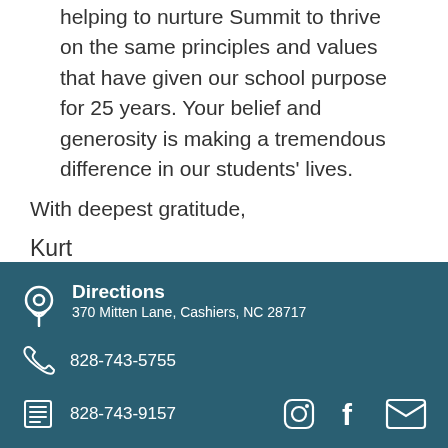helping to nurture Summit to thrive on the same principles and values that have given our school purpose for 25 years. Your belief and generosity is making a tremendous difference in our students' lives.
With deepest gratitude,
Kurt
Directions
370 Mitten Lane, Cashiers, NC 28717
828-743-5755
828-743-9157